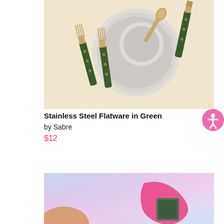[Figure (photo): Top-down photo of green-handled stainless steel flatware (two forks and a knife/spoon) arranged around white ceramic plates on a light cream/beige surface]
Stainless Steel Flatware in Green
by Sabre
$12
[Figure (photo): Partial photo showing an iridescent pink/purple/lavender surface with a colorful object partially visible, person's arm visible at bottom left]